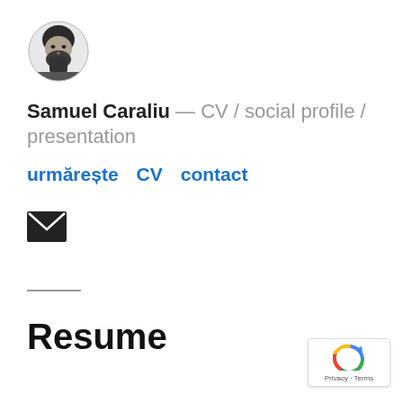[Figure (photo): Circular profile photo of a man (Samuel Caraliu), black and white, with beard]
Samuel Caraliu — CV / social profile / presentation
urmărește   CV   contact
[Figure (illustration): Email envelope icon (black filled)]
—
Resume
[Figure (logo): Google reCAPTCHA badge with Privacy and Terms text]